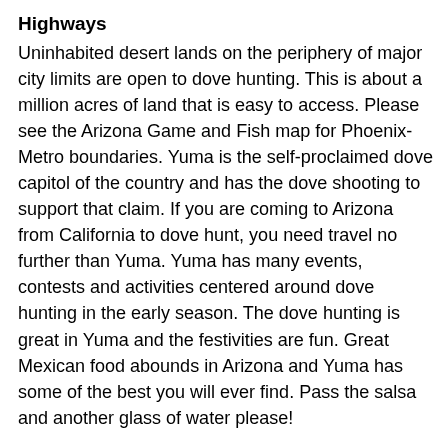Highways
Uninhabited desert lands on the periphery of major city limits are open to dove hunting. This is about a million acres of land that is easy to access. Please see the Arizona Game and Fish map for Phoenix-Metro boundaries. Yuma is the self-proclaimed dove capitol of the country and has the dove shooting to support that claim. If you are coming to Arizona from California to dove hunt, you need travel no further than Yuma. Yuma has many events, contests and activities centered around dove hunting in the early season. The dove hunting is great in Yuma and the festivities are fun. Great Mexican food abounds in Arizona and Yuma has some of the best you will ever find. Pass the salsa and another glass of water please!
Along the Interstate Highways in Arizona, look for the green irrigated agrarian areas. These areas hold dove across the state and the I-10 and the I-8 offer lots of great access. Good numbers of White-Winged Dove are